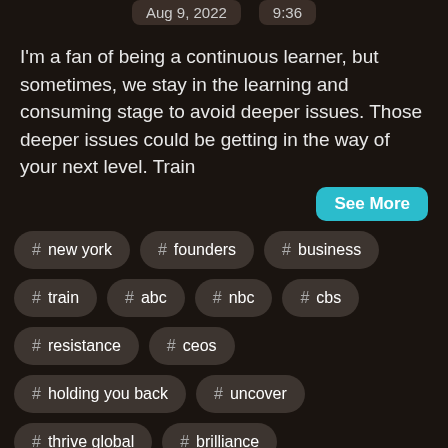Aug 9, 2022   9:36
I'm a fan of being a continuous learner, but sometimes, we stay in the learning and consuming stage to avoid deeper issues. Those deeper issues could be getting in the way of your next level. Train
See More
# new york
# founders
# business
# train
# abc
# nbc
# cbs
# resistance
# ceos
# holding you back
# uncover
# thrive global
# brilliance